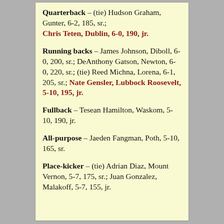Quarterback – (tie) Hudson Graham, Gunter, 6-2, 185, sr.; Chris Teten, Dublin, 6-0, 190, jr.
Running backs – James Johnson, Diboll, 6-0, 200, sr.; DeAnthony Gatson, Newton, 6-0, 220, sr.; (tie) Reed Michna, Lorena, 6-1, 205, sr.; Nate Gensler, Lubbock Roosevelt, 5-10, 195, jr.
Fullback – Tesean Hamilton, Waskom, 5-10, 190, jr.
All-purpose – Jaeden Fangman, Poth, 5-10, 165, sr.
Place-kicker – (tie) Adrian Diaz, Mount Vernon, 5-7, 175, sr.; Juan Gonzalez, Malakoff, 5-7, 155, jr.